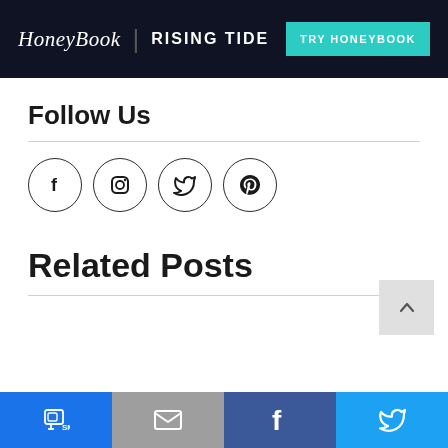HoneyBook | RISING TIDE — TRY HONEYBOOK
Follow Us
[Figure (other): Four social media icons in circles: Facebook, Instagram, Twitter, Pinterest]
Related Posts
Share bar with SMS, Email, Facebook, Twitter icons